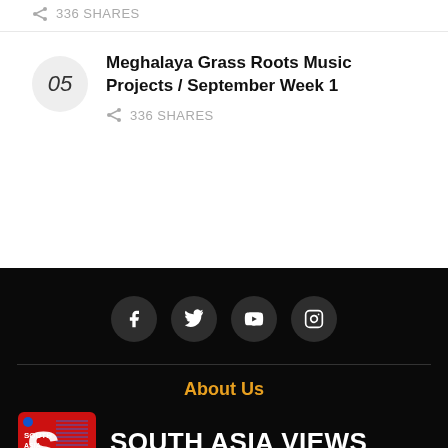336 SHARES (partial item above)
05  Meghalaya Grass Roots Music Projects / September Week 1  336 SHARES
[Figure (infographic): Social media icon buttons: Facebook, Twitter, YouTube, Instagram — white icons on dark circular backgrounds on black background]
About Us
[Figure (logo): South Asia Views logo: red square badge with 'South Asia Views' text and large S, next to bold white text 'SOUTH ASIA VIEWS' and subtitle 'Voices for Exchange']